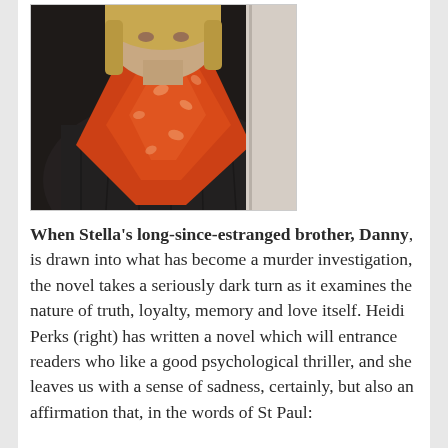[Figure (photo): Photo of Heidi Perks, a woman wearing a dark puffer jacket and an orange/coral scarf with a leaf or floral pattern, standing near a door or wall.]
When Stella's long-since-estranged brother, Danny, is drawn into what has become a murder investigation, the novel takes a seriously dark turn as it examines the nature of truth, loyalty, memory and love itself. Heidi Perks (right) has written a novel which will entrance readers who like a good psychological thriller, and she leaves us with a sense of sadness, certainly, but also an affirmation that, in the words of St Paul: